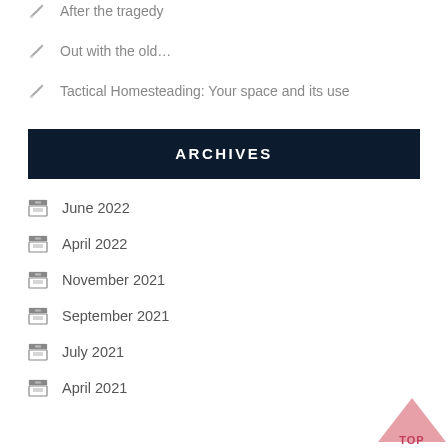After the tragedy
Out with the old…
Tactical Homesteading: Your space and its use
ARCHIVES
June 2022
April 2022
November 2021
September 2021
July 2021
April 2021